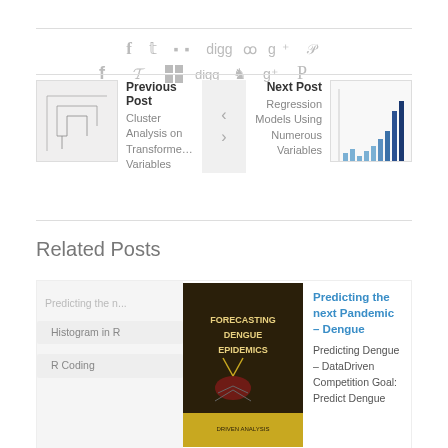[Figure (other): Social sharing icons row: Facebook, Twitter, squares/grid, Digg, StumbleUpon, Google+, Pinterest]
Previous Post
Cluster Analysis on Transformed Variables
Next Post
Regression Models Using Numerous Variables
Related Posts
Predicting the n...
Histogram in R
R Coding
[Figure (photo): Book cover: Forecasting Dengue Epidemics, dark brown background with stylized mosquito graphic]
Predicting the next Pandemic – Dengue
Predicting Dengue – DataDriven Competition Goal: Predict Dengue